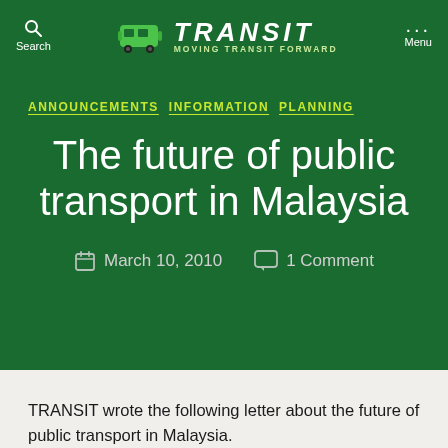TRANSIT — MOVING TRANSIT FORWARD | Search | Menu
ANNOUNCEMENTS   INFORMATION   PLANNING
The future of public transport in Malaysia
March 10, 2010   1 Comment
TRANSIT wrote the following letter about the future of public transport in Malaysia.
We realize that change will not take place overnight –